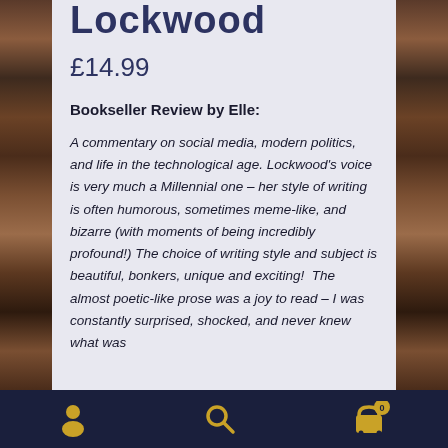Lockwood
£14.99
Bookseller Review by Elle:
A commentary on social media, modern politics, and life in the technological age. Lockwood's voice is very much a Millennial one – her style of writing is often humorous, sometimes meme-like, and bizarre (with moments of being incredibly profound!) The choice of writing style and subject is beautiful, bonkers, unique and exciting! The almost poetic-like prose was a joy to read – I was constantly surprised, shocked, and never knew what was
Navigation: Account | Search | Cart (0)